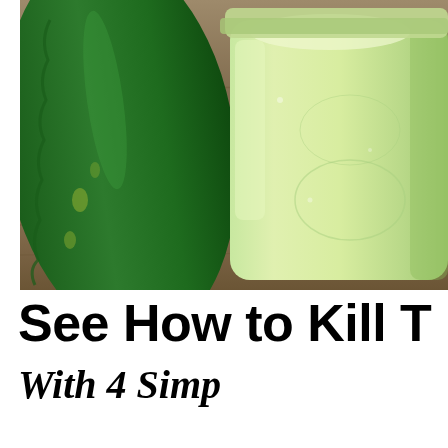[Figure (photo): Close-up photo of a large aloe vera leaf (dark green, on the left) and a glass mason jar filled with light green aloe gel or juice, both resting on a wooden surface with visible wood grain.]
See How to Kill T
With 4 Simp